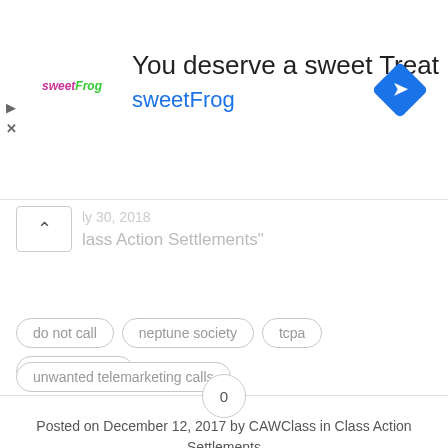[Figure (infographic): Advertisement banner for sweetFrog frozen yogurt. Shows the sweetFrog logo on the left, headline 'You deserve a sweet Treat', subheading 'sweetFrog' in blue, and a blue diamond navigation icon on the right. Play and close icons visible on the far left.]
Class Action Settlements"
do not call
neptune society
tcpa
telemarketing
unwanted telemarketing calls
Posted on December 12, 2017 by CAWClass in Class Action Settlements
0